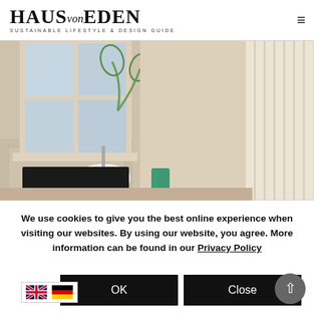HAUS von EDEN — SUSTAINABLE LIFESTYLE & DESIGN GUIDE
[Figure (photo): Interior room photo showing a window with a white dome pendant lamp, green plant, teal glass cup, black chair back, and white radiator on the right side. Warm beige/cream wall tones.]
We use cookies to give you the best online experience when visiting our websites. By using our website, you agree. More information can be found in our Privacy Policy
OK
Close